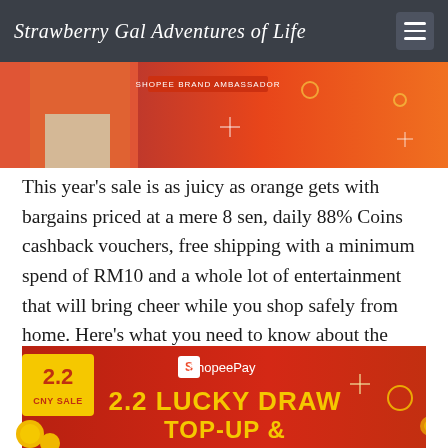Strawberry Gal Adventures of Life
[Figure (photo): Partial promotional banner image with orange/red background, person in orange jacket, text 'SHOPEE BRAND AMBASSADOR', and Shopee CNY sale decorative elements]
This year’s sale is as juicy as orange gets with bargains priced at a mere 8 sen, daily 88% Coins cashback vouchers, free shipping with a minimum spend of RM10 and a whole lot of entertainment that will bring cheer while you shop safely from home. Here’s what you need to know about the Shopee 2.2 CNY Sale:
[Figure (photo): Shopee 2.2 CNY Sale promotional banner with red/orange gradient background showing '2.2 CNY SALE' badge, ShopeePay logo, and text '2.2 LUCKY DRAW TOP-UP &' with festive golden decorations]